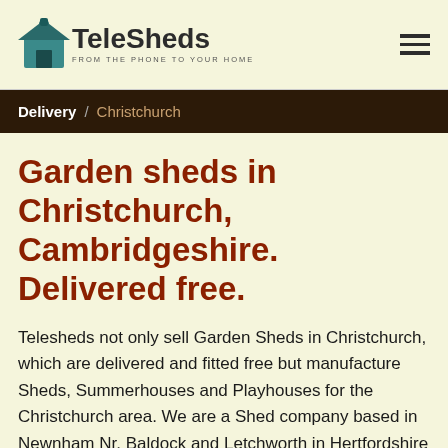TeleSheds - FROM THE PHONE TO YOUR HOME
Delivery / Christchurch
Garden sheds in Christchurch, Cambridgeshire. Delivered free.
Telesheds not only sell Garden Sheds in Christchurch, which are delivered and fitted free but manufacture Sheds, Summerhouses and Playhouses for the Christchurch area. We are a Shed company based in Newnham Nr. Baldock and Letchworth in Hertfordshire to provide the best service possible for the Christchurch area. Our service for Christchurch includes free delivery on all sheds with fitting service available across our range, just ensure you have a